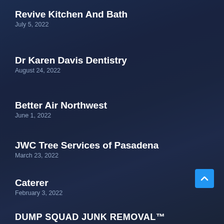Revive Kitchen And Bath
July 5, 2022
Dr Karen Davis Dentistry
August 24, 2022
Better Air Northwest
June 1, 2022
JWC Tree Services of Pasadena
March 23, 2022
Caterer
February 3, 2022
DUMP SQUAD JUNK REMOVAL™